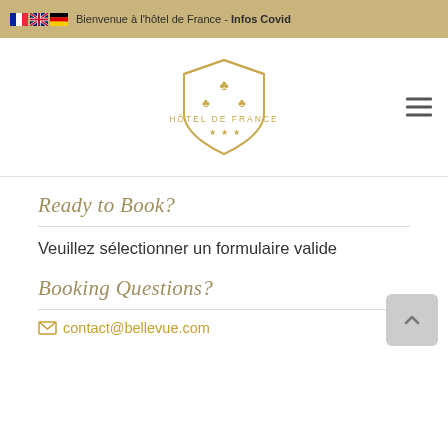🇫🇷 🇬🇧 🇩🇪 Bienvenue à l'hôtel de France - Infos Covid
[Figure (logo): Hôtel de France logo — gold shield with fleur-de-lis motifs and three stars, text HÔTEL DE FRANCE below]
Ready to Book?
Veuillez sélectionner un formulaire valide
Booking Questions?
contact@bellevue.com